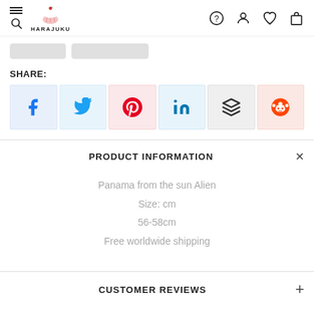HARAJUKU
SHARE:
[Figure (screenshot): Social media share buttons: Facebook, Twitter, Pinterest, LinkedIn, Buffer, Reddit]
PRODUCT INFORMATION
Panama from the sun Alien
Size: cm
56-58cm
Free worldwide shipping
CUSTOMER REVIEWS